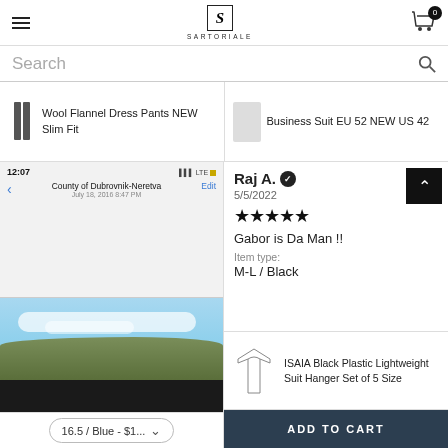SARTORIALE
Search
Wool Flannel Dress Pants NEW Slim Fit
Business Suit EU 52 NEW US 42
[Figure (screenshot): Mobile phone screenshot showing County of Dubrovnik-Neretva location, July 18, 2016 8:47 PM]
[Figure (photo): Landscape photo showing sky with clouds and hills]
16.5 / Blue - $1...
Raj A. ✓
5/5/2022
★★★★★
Gabor is Da Man !!
Item type:
M-L / Black
ISAIA Black Plastic Lightweight Suit Hanger Set of 5 Size
ADD TO CART